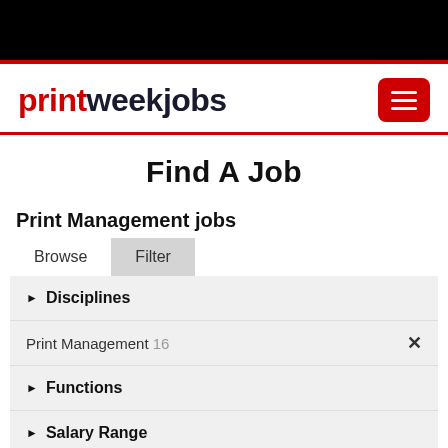[Figure (logo): Black navigation bar at top of page]
printweekjobs
Find A Job
Print Management jobs
Browse
Filter
Disciplines
Print Management 16
Functions
Salary Range